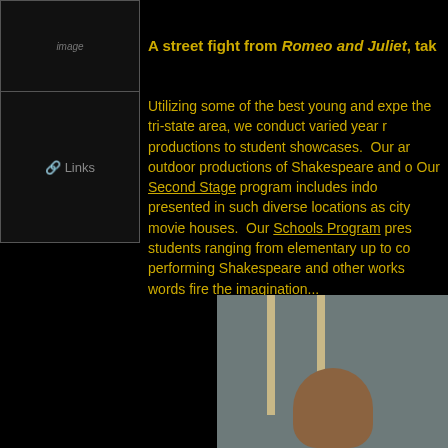[Figure (photo): Navigation image at top left, partially visible]
[Figure (photo): Links navigation image/button]
A street fight from Romeo and Juliet, tak...
Utilizing some of the best young and expe... the tri-state area, we conduct varied year r... productions to student showcases.  Our ar... outdoor productions of Shakespeare and o... Our Second Stage program includes indo... presented in such diverse locations as city... movie houses.  Our Schools Program pres... students ranging from elementary up to co... performing Shakespeare and other works ... words fire the imagination...
[Figure (photo): Photo of performer, partially visible at bottom right]